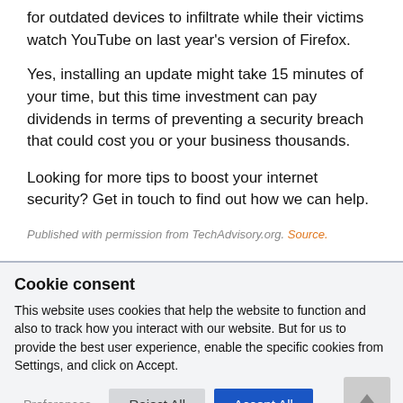for outdated devices to infiltrate while their victims watch YouTube on last year's version of Firefox.
Yes, installing an update might take 15 minutes of your time, but this time investment can pay dividends in terms of preventing a security breach that could cost you or your business thousands.
Looking for more tips to boost your internet security? Get in touch to find out how we can help.
Published with permission from TechAdvisory.org. Source.
Cookie consent
This website uses cookies that help the website to function and also to track how you interact with our website. But for us to provide the best user experience, enable the specific cookies from Settings, and click on Accept.